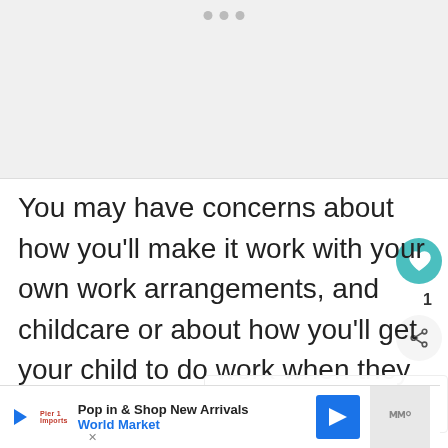[Figure (photo): Image placeholder with three dot indicator at top, grey background]
You may have concerns about how you'll make it work with your own work arrangements, and childcare or about how you'll get your child to do work when they seem so
[Figure (infographic): What's Next panel with thumbnail and text: How To Homeschool...]
[Figure (infographic): Ad banner: Pop in & Shop New Arrivals, World Market]